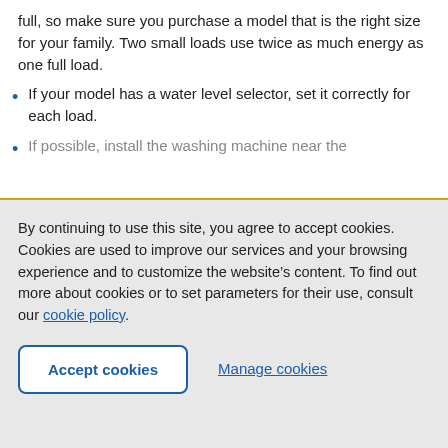full, so make sure you purchase a model that is the right size for your family. Two small loads use twice as much energy as one full load.
If your model has a water level selector, set it correctly for each load.
If possible, install the washing machine near the
By continuing to use this site, you agree to accept cookies. Cookies are used to improve our services and your browsing experience and to customize the website’s content. To find out more about cookies or to set parameters for their use, consult our cookie policy.
Accept cookies | Manage cookies